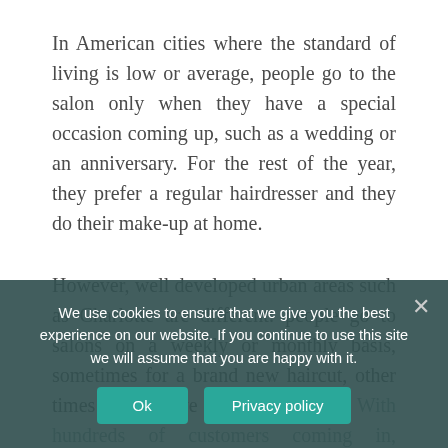In American cities where the standard of living is low or average, people go to the salon only when they have a special occasion coming up, such as a wedding or an anniversary. For the rest of the year, they prefer a regular hairdresser and they do their make-up at home.
However, well developed urban areas such as Charlotte are different: people go to salons on a weekly or monthly basis, sometimes for a brand new haircut, other times just to have their hair washed. With hundreds of customers coming in, Charlotteans have a great sense of style, current fashions and trends are always hot top-of-the-list discussion in Charlotte, you and me contribute to
We use cookies to ensure that we give you the best experience on our website. If you continue to use this site we will assume that you are happy with it.